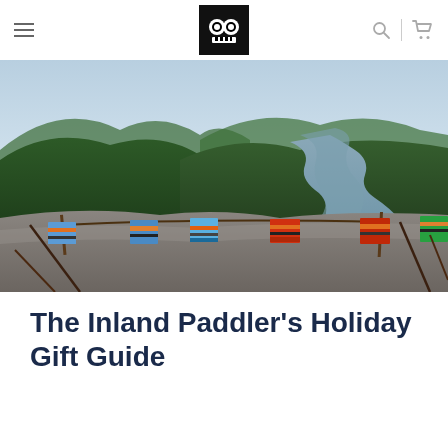Navigation header with hamburger menu, owl logo, search icon, and cart icon
[Figure (photo): Aerial view of a winding river through forested hills, with colorful striped towels/textiles hanging on a wooden pole in the foreground on a rocky outcrop]
The Inland Paddler's Holiday Gift Guide